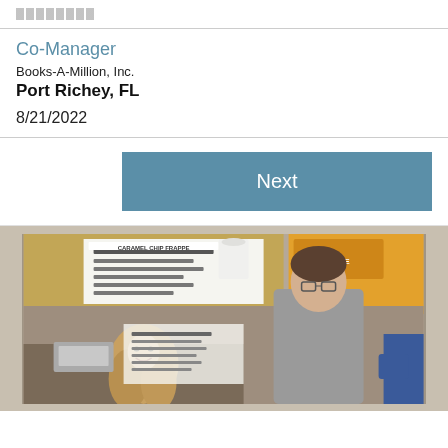Co-Manager
Books-A-Million, Inc.
Port Richey, FL
8/21/2022
Next
[Figure (photo): Interior photo of a Books-A-Million cafe/coffee bar area showing a female employee at the counter, a male customer in gray shirt, menu boards with 'Caramel Chip Frappe' visible, and store signage in the background.]